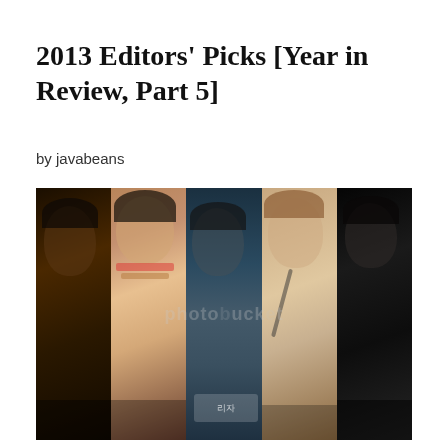2013 Editors’ Picks [Year in Review, Part 5]
by javabeans
[Figure (photo): A collage of five vertically-arranged panels showing Korean drama actors/performers. From left to right: a dark-haired man with intense gaze against a dark background; a smiling young woman with short dark hair wearing colorful clothes; a man in the rain in a suit; a young man with reddish-brown swept hair smiling while wearing a school uniform; a man in a black jacket with dark hair against a dark background. A photobucket watermark is visible across the images. Korean text is visible at the bottom of some panels.]